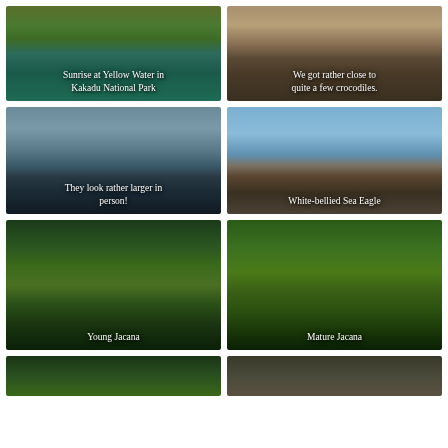[Figure (photo): Sunrise at Yellow Water wetlands with tall grass reeds and calm reflective water, Kakadu National Park]
[Figure (photo): Close-up view of crocodile on rocky shore]
[Figure (photo): Crocodile swimming in dark water, viewed from above]
[Figure (photo): White-bellied Sea Eagle perched on a dead tree branch against blue sky]
[Figure (photo): Young Jacana bird standing on lily pads with water in background]
[Figure (photo): Mature Jacana bird with red head shield walking on lily pads]
[Figure (photo): Partial view of another photo at bottom left]
[Figure (photo): Partial view of another photo at bottom right]